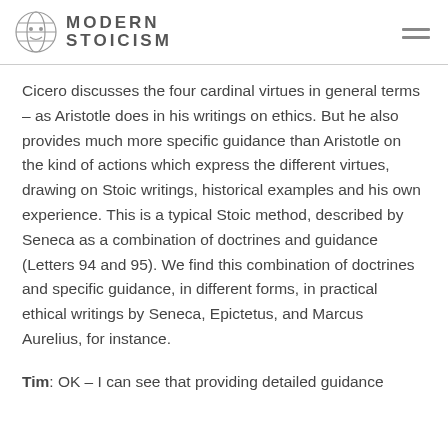MODERN STOICISM
Cicero discusses the four cardinal virtues in general terms – as Aristotle does in his writings on ethics. But he also provides much more specific guidance than Aristotle on the kind of actions which express the different virtues, drawing on Stoic writings, historical examples and his own experience. This is a typical Stoic method, described by Seneca as a combination of doctrines and guidance (Letters 94 and 95). We find this combination of doctrines and specific guidance, in different forms, in practical ethical writings by Seneca, Epictetus, and Marcus Aurelius, for instance.
Tim: OK – I can see that providing detailed guidance